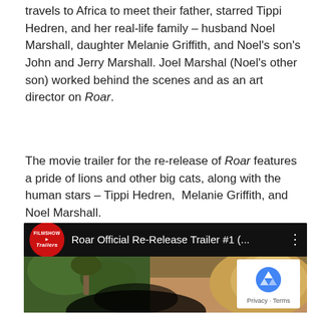travels to Africa to meet their father, starred Tippi Hedren, and her real-life family – husband Noel Marshall, daughter Melanie Griffith, and Noel's son's John and Jerry Marshall. Joel Marshal (Noel's other son) worked behind the scenes and as an art director on Roar.
The movie trailer for the re-release of Roar features a pride of lions and other big cats, along with the human stars – Tippi Hedren, Melanie Griffith, and Noel Marshall.
[Figure (screenshot): Embedded YouTube video thumbnail showing 'Roar Official Re-Release Trailer #1 (...' with a FilmShowTrailers logo on the left, a lion's face on the right side of the thumbnail, a dark human figure at the bottom, and a reCAPTCHA privacy badge in the lower right corner.]